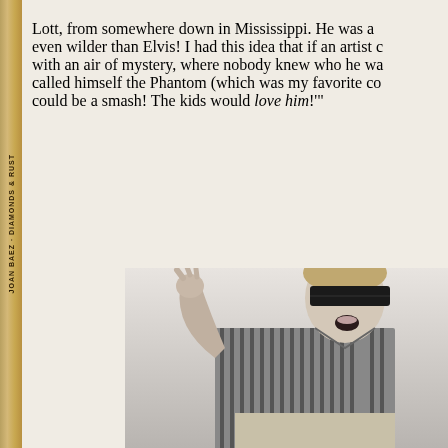Lott, from somewhere down in Mississippi. He was a even wilder than Elvis! I had this idea that if an artist c with an air of mystery, where nobody knew who he wa called himself the Phantom (which was my favorite co could be a smash! The kids would love him!'"
[Figure (photo): Black and white photograph of a young man wearing a blindfold/mask over his eyes, dressed in a striped shirt, with one hand raised and mouth open as if singing or performing energetically.]
JOAN BAEZ · DIAMONDS & RUST